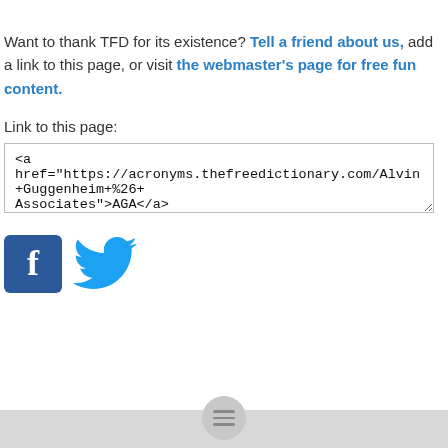Want to thank TFD for its existence? Tell a friend about us, add a link to this page, or visit the webmaster's page for free fun content.
Link to this page:
<a href="https://acronyms.thefreedictionary.com/Alvin+Guggenheim+%26+Associates">AGA</a>
[Figure (logo): Facebook logo icon (blue square with white F) and Twitter bird icon (light blue)]